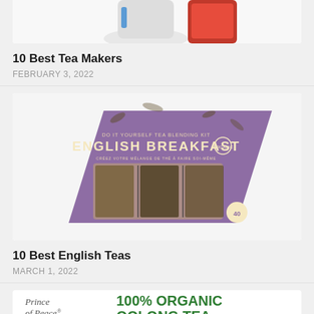[Figure (photo): Partial top of a product image showing tea makers with white and red plastic containers, cut off at the top of the page.]
10 Best Tea Makers
FEBRUARY 3, 2022
[Figure (photo): English Breakfast tea blending kit in a purple triangular box with visible tea leaves inside compartments.]
10 Best English Teas
MARCH 1, 2022
[Figure (photo): Partial bottom card showing Prince of Peace brand logo and 100% Organic Oolong Tea text in green.]